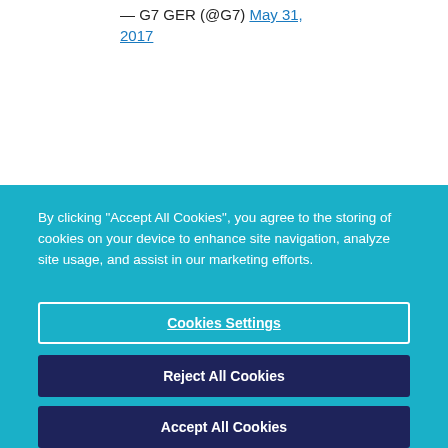— G7 GER (@G7) May 31, 2017
By clicking “Accept All Cookies”, you agree to the storing of cookies on your device to enhance site navigation, analyze site usage, and assist in our marketing efforts.
Cookies Settings
Reject All Cookies
Accept All Cookies